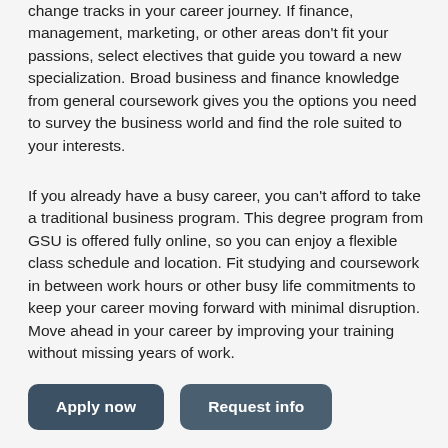change tracks in your career journey. If finance, management, marketing, or other areas don't fit your passions, select electives that guide you toward a new specialization. Broad business and finance knowledge from general coursework gives you the options you need to survey the business world and find the role suited to your interests.
If you already have a busy career, you can't afford to take a traditional business program. This degree program from GSU is offered fully online, so you can enjoy a flexible class schedule and location. Fit studying and coursework in between work hours or other busy life commitments to keep your career moving forward with minimal disruption. Move ahead in your career by improving your training without missing years of work.
Apply now | Request info